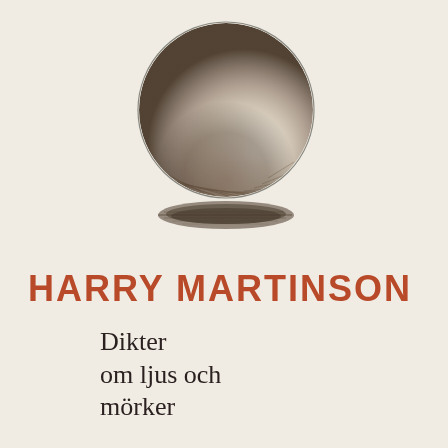[Figure (illustration): A pencil sketch of a sphere (globe/ball) hovering just above a dark elliptical shadow on the ground. The sphere has shading concentrated at the bottom right, giving it a three-dimensional appearance. The shadow beneath is an elongated dark ellipse rendered in pencil strokes.]
HARRY MARTINSON
Dikter om ljus och mörker